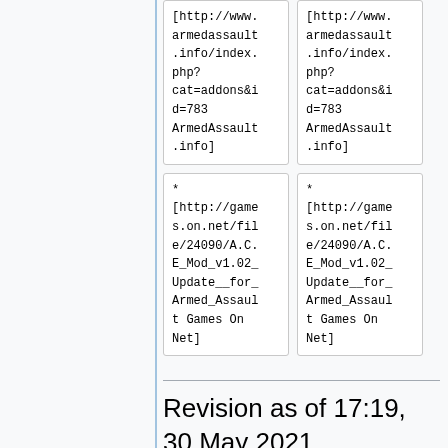| [http://www.armedassault.info/index.php?cat=addons&id=783 ArmedAssault.info] | [http://www.armedassault.info/index.php?cat=addons&id=783 ArmedAssault.info] |
| * [http://games.on.net/file/24090/A.C.E_Mod_v1.02_Update__for_Armed_Assault Games On Net] | * [http://games.on.net/file/24090/A.C.E_Mod_v1.02_Update__for_Armed_Assault Games On Net] |
Revision as of 17:19, 30 May 2021